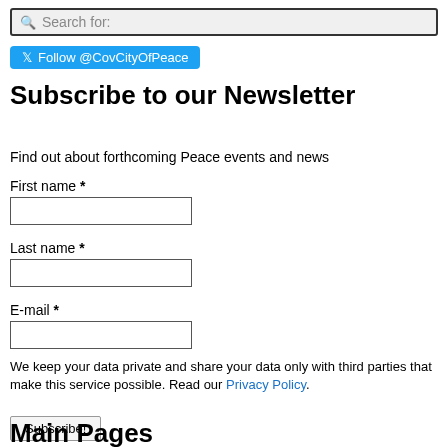[Figure (screenshot): Search bar with magnifying glass icon and placeholder text 'Search for:']
[Figure (screenshot): Twitter Follow button with @CovCityOfPeace handle]
Subscribe to our Newsletter
Find out about forthcoming Peace events and news
First name *
Last name *
E-mail *
We keep your data private and share your data only with third parties that make this service possible. Read our Privacy Policy.
[Figure (screenshot): Subscribe! button]
Main Pages